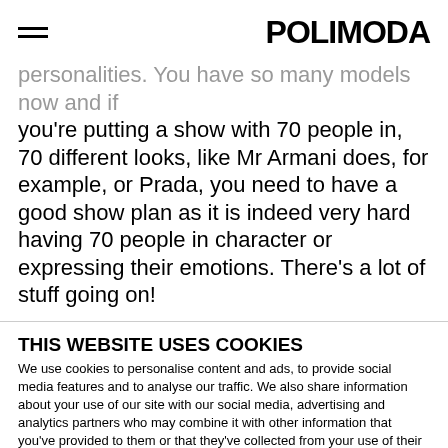POLIMODA
personalities. You have so many models now and if you're putting a show with 70 people in, 70 different looks, like Mr Armani does, for example, or Prada, you need to have a good show plan as it is indeed very hard having 70 people in character or expressing their emotions. There's a lot of stuff going on!
THIS WEBSITE USES COOKIES
We use cookies to personalise content and ads, to provide social media features and to analyse our traffic. We also share information about your use of our site with our social media, advertising and analytics partners who may combine it with other information that you've provided to them or that they've collected from your use of their services.
Deny | Allow selection | Allow all
Necessary | Preferences | Statistics | Marketing | Show details